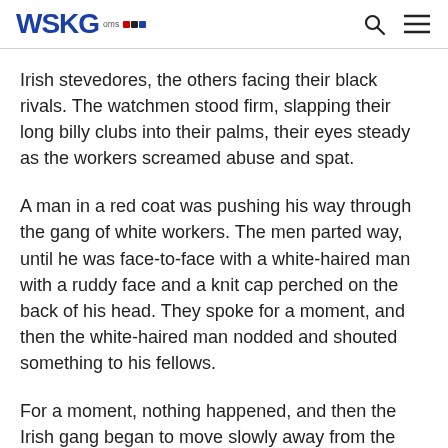WSKG PBS NPR
Irish stevedores, the others facing their black rivals. The watchmen stood firm, slapping their long billy clubs into their palms, their eyes steady as the workers screamed abuse and spat.
A man in a red coat was pushing his way through the gang of white workers. The men parted way, until he was face-to-face with a white-haired man with a ruddy face and a knit cap perched on the back of his head. They spoke for a moment, and then the white-haired man nodded and shouted something to his fellows.
For a moment, nothing happened, and then the Irish gang began to move slowly away from the